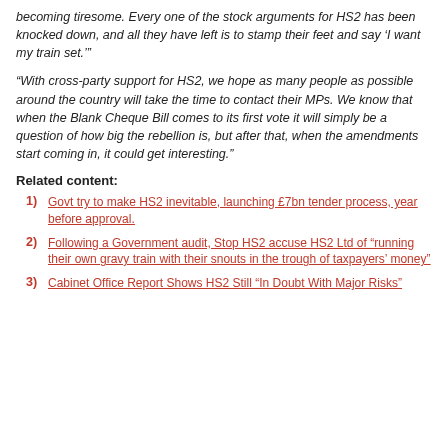becoming tiresome. Every one of the stock arguments for HS2 has been knocked down, and all they have left is to stamp their feet and say 'I want my train set.'"
"With cross-party support for HS2, we hope as many people as possible around the country will take the time to contact their MPs. We know that when the Blank Cheque Bill comes to its first vote it will simply be a question of how big the rebellion is, but after that, when the amendments start coming in, it could get interesting."
Related content:
Govt try to make HS2 inevitable, launching £7bn tender process, year before approval.
Following a Government audit, Stop HS2 accuse HS2 Ltd of "running their own gravy train with their snouts in the trough of taxpayers' money"
Cabinet Office Report Shows HS2 Still "In Doubt With Major Risks"